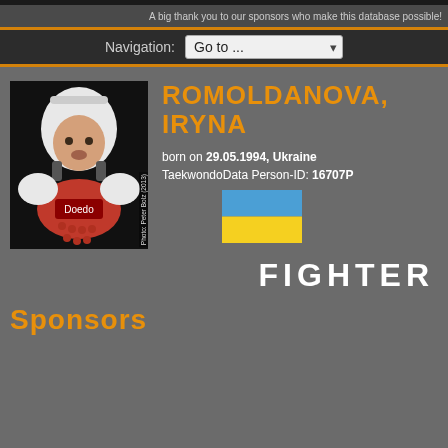A big thank you to our sponsors who make this database possible!
Navigation: Go to ...
[Figure (photo): Photo of Iryna Romoldanova in taekwondo gear with helmet and red chest protector. Photo credit: Peter Bolz (2013)]
ROMOLDANOVA, Iryna
born on 29.05.1994, Ukraine
TaekwondoData Person-ID: 16707P
[Figure (illustration): Flag of Ukraine — blue top half, yellow bottom half]
FIGHTER
Sponsors